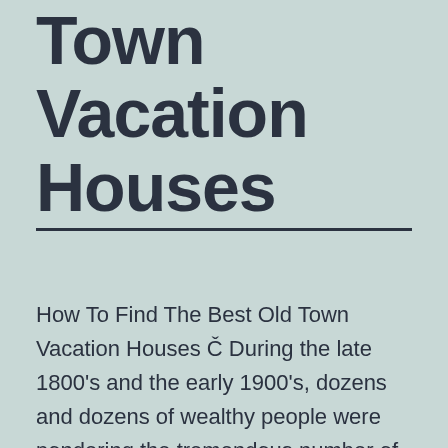Town Vacation Houses
How To Find The Best Old Town Vacation Houses Č During the late 1800's and the early 1900's, dozens and dozens of wealthy people were pondering the tremendous number of grand residences in New York City. At that time, the downtown sky was brightest and the